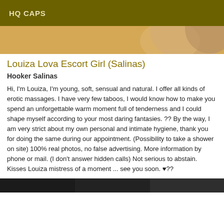HQ CAPS
[Figure (photo): Partial photo of a person, warm golden/skin tones, cropped top portion]
Louiza Lova Escort Girl (Salinas)
Hooker Salinas
Hi, I'm Louiza, I'm young, soft, sensual and natural. I offer all kinds of erotic massages. I have very few taboos, I would know how to make you spend an unforgettable warm moment full of tenderness and I could shape myself according to your most daring fantasies. ?? By the way, I am very strict about my own personal and intimate hygiene, thank you for doing the same during our appointment. (Possibility to take a shower on site) 100% real photos, no false advertising. More information by phone or mail. (I don't answer hidden calls) Not serious to abstain. Kisses Louiza mistress of a moment ... see you soon. ♥??
[Figure (photo): Partial photo at bottom, dark tones, cropped]